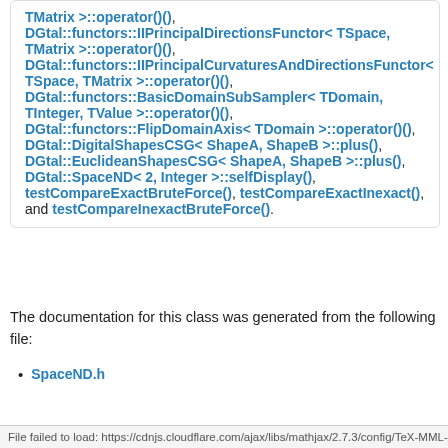TMatrix >::operator()(), DGtal::functors::IIPrincipalDirectionsFunctor< TSpace, TMatrix >::operator()(), DGtal::functors::IIPrincipalCurvaturesAndDirectionsFunctor< TSpace, TMatrix >::operator()(), DGtal::functors::BasicDomainSubSampler< TDomain, TInteger, TValue >::operator()(), DGtal::functors::FlipDomainAxis< TDomain >::operator()(), DGtal::DigitalShapesCSG< ShapeA, ShapeB >::plus(), DGtal::EuclideanShapesCSG< ShapeA, ShapeB >::plus(), DGtal::SpaceND< 2, Integer >::selfDisplay(), testCompareExactBruteForce(), testCompareExactInexact(), and testCompareInexactBruteForce().
The documentation for this class was generated from the following file:
SpaceND.h
File failed to load: https://cdnjs.cloudflare.com/ajax/libs/mathjax/2.7.3/config/TeX-MML-AM...